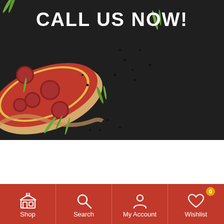[Figure (photo): Dark background with pepperoni pizza slice and green arugula leaves scattered, with 'CALL US NOW!' text overlay in white bold uppercase letters]
CALL US NOW!
[Figure (infographic): Mobile app bottom navigation bar with red background containing four icons: Shop (storefront icon), Search (magnifying glass icon), My Account (person icon), Wishlist (heart icon with '0' badge)]